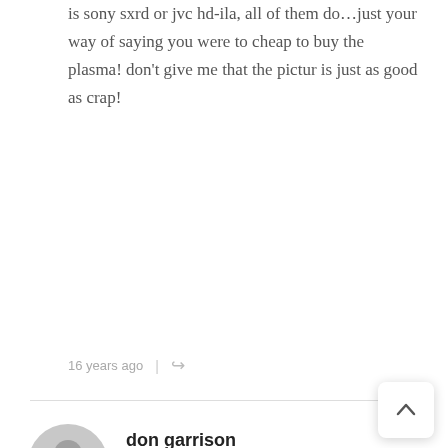is sony sxrd or jvc hd-ila, all of them do…just your way of saying you were to cheap to buy the plasma! don't give me that the pictur is just as good as crap!
16 years ago
don garrison
Quick question. I'm about to buy a 50″ Panasonic TH50PX60U and I saw what I thought was the same tv at Costco for $400 less. But…the model number TH50PX6U